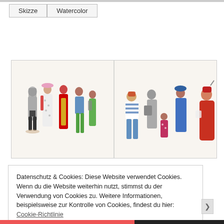Skizze
Watercolor
[Figure (illustration): Watercolor illustration showing a group of people standing in a row, viewed mostly from behind, dressed in colorful clothing. Left half: figures in gray, white patterned, red, green outfits. Right half: figures including striped shirt person in blue jeans, gray figure, small red figure, blue-coated figure, and a large red/orange figure with a hat.]
Datenschutz & Cookies: Diese Website verwendet Cookies. Wenn du die Website weiterhin nutzt, stimmst du der Verwendung von Cookies zu. Weitere Informationen, beispielsweise zur Kontrolle von Cookies, findest du hier: Cookie-Richtlinie
Schließen und Akzeptieren